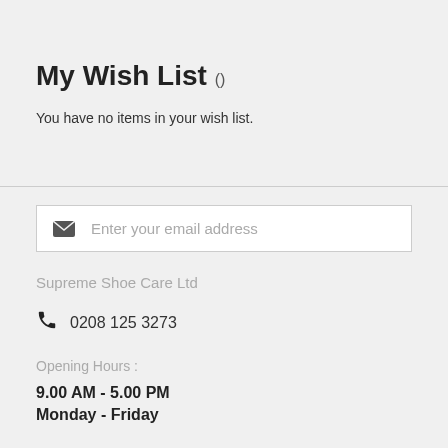My Wish List ()
You have no items in your wish list.
Enter your email address
Supreme Shoe Care Ltd
0208 125 3273
Opening Hours :
9.00 AM - 5.00 PM
Monday - Friday